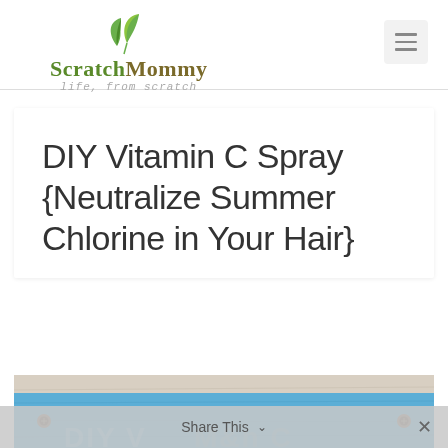ScratchMommy – life, from scratch
DIY Vitamin C Spray {Neutralize Summer Chlorine in Your Hair}
[Figure (photo): Partial photo of a DIY Vitamin C Spray product with a blue painted wood background, showing the top portion of the image]
Share This